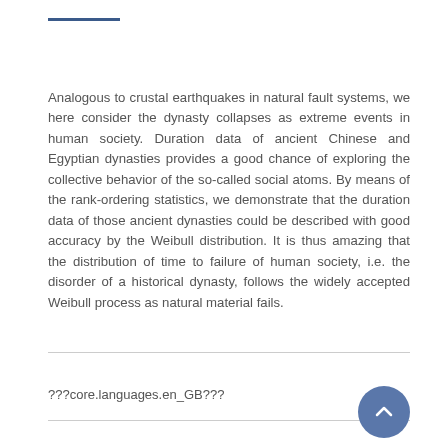Analogous to crustal earthquakes in natural fault systems, we here consider the dynasty collapses as extreme events in human society. Duration data of ancient Chinese and Egyptian dynasties provides a good chance of exploring the collective behavior of the so-called social atoms. By means of the rank-ordering statistics, we demonstrate that the duration data of those ancient dynasties could be described with good accuracy by the Weibull distribution. It is thus amazing that the distribution of time to failure of human society, i.e. the disorder of a historical dynasty, follows the widely accepted Weibull process as natural material fails.
???core.languages.en_GB???